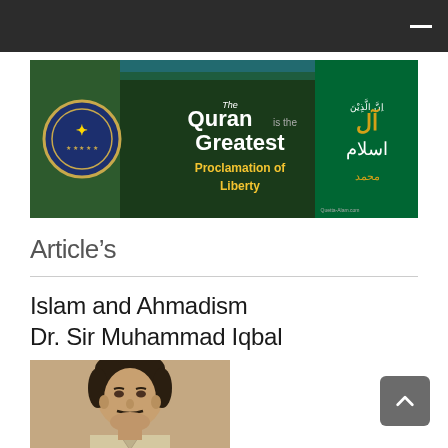[Figure (illustration): Website banner reading 'The Quran is the Greatest Proclamation of Liberty' with Islamic calligraphy and a medallion/crest on the left side against a dark green background.]
Article's
Islam and Ahmadism
Dr. Sir Muhammad Iqbal
[Figure (photo): Portrait painting of Dr. Sir Muhammad Iqbal, showing a middle-aged South Asian man with dark hair and a moustache, wearing a light-colored suit.]